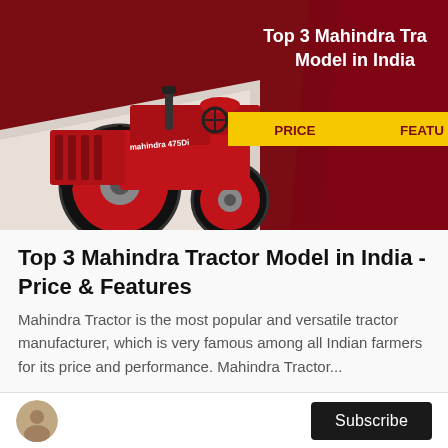[Figure (photo): Thumbnail image showing a red Mahindra tractor on a dark red background with text overlay 'Top 3 Mahindra Tractor Model in India' in white bold, and a yellow banner showing 'PRICE' and 'FEATU']
Top 3 Mahindra Tractor Model in India - Price & Features
Mahindra Tractor is the most popular and versatile tractor manufacturer, which is very famous among all Indian farmers for its price and performance. Mahindra Tractor...
Sanvendra Singh Rasia